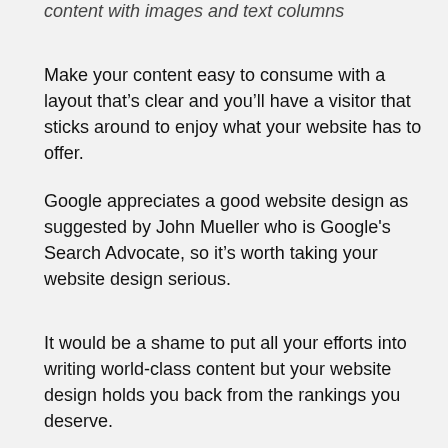content with images and text columns
Make your content easy to consume with a layout that’s clear and you’ll have a visitor that sticks around to enjoy what your website has to offer.
Google appreciates a good website design as suggested by John Mueller who is Google's Search Advocate, so it’s worth taking your website design serious.
It would be a shame to put all your efforts into writing world-class content but your website design holds you back from the rankings you deserve.